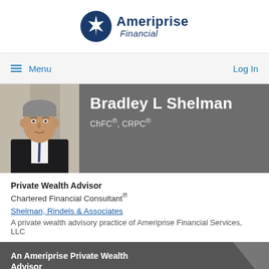[Figure (logo): Ameriprise Financial logo with star icon]
Menu   Log In
[Figure (photo): Professional headshot of Bradley L Shelman in a dark suit]
Bradley L Shelman
ChFC®, CRPC®
Private Wealth Advisor
Chartered Financial Consultant®
Shelman, Rindels & Associates
A private wealth advisory practice of Ameriprise Financial Services, LLC
An Ameriprise Private Wealth Advisor
319.337.0520